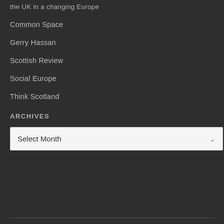the UK in a changing Europe
Common Space
Gerry Hassan
Scottish Review
Social Europe
Think Scotland
ARCHIVES
Select Month